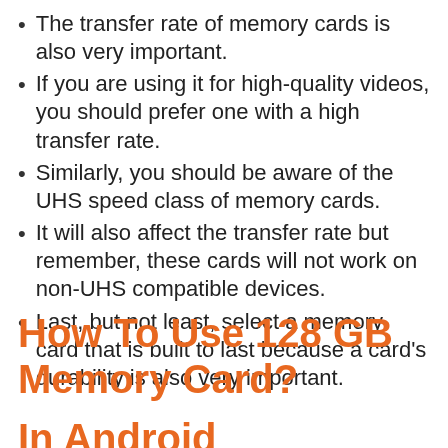The transfer rate of memory cards is also very important.
If you are using it for high-quality videos, you should prefer one with a high transfer rate.
Similarly, you should be aware of the UHS speed class of memory cards.
It will also affect the transfer rate but remember, these cards will not work on non-UHS compatible devices.
Last, but not least, select a memory card that is built to last because a card’s durability is also very important.
How To Use 128 GB Memory Card?
In Android